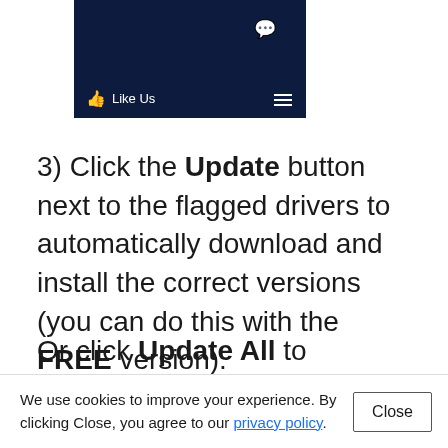[Figure (screenshot): Dark navy blue header bar with a thumbs-up 'Like Us' icon on the bottom left, a chat bubble icon on the top right, and a hamburger menu icon on the bottom right]
3) Click the Update button next to the flagged drivers to automatically download and install the correct versions (you can do this with the FREE version).
Or click Update All to automatically download and install the correct version of all the drivers that are missing or out of date on your system. (This requires the Pro version which
We use cookies to improve your experience. By clicking Close, you agree to our privacy policy.